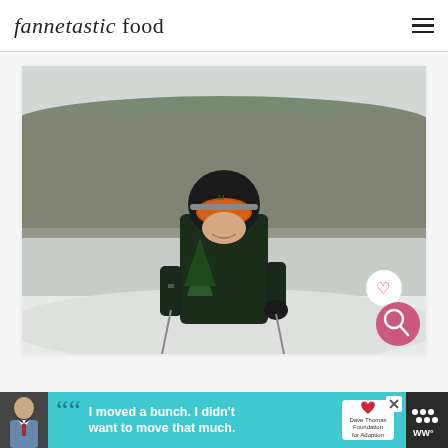fannetastic food
[Figure (photo): Person wearing a black ski helmet and orange ski goggles, dressed in dark green jacket, holding ski poles on a snowy slope with bare winter trees and hills visible in the background. White circular heart/save button and pink circular search button overlaid on the lower-right of the photo.]
[Figure (infographic): Advertisement banner with dark background. Left side shows a boy in a suit. Cyan/teal box with quotation marks and text: 'I moved a bunch. I didn't want to move that much.' Dave Thomas Foundation for Adoption logo. Close/X button. Right side shows WW logo icon.]